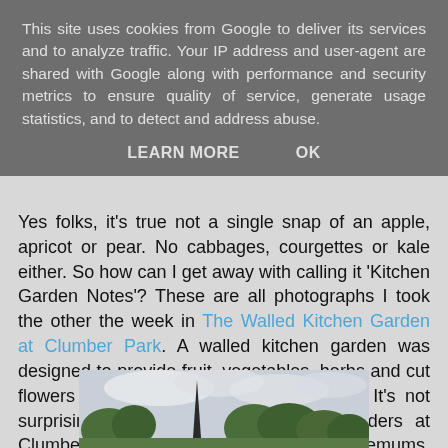This site uses cookies from Google to deliver its services and to analyze traffic. Your IP address and user-agent are shared with Google along with performance and security metrics to ensure quality of service, generate usage statistics, and to detect and address abuse.
LEARN MORE   OK
Yes folks, it's true not a single snap of an apple, apricot or pear. No cabbages, courgettes or kale either. So how can I get away with calling it 'Kitchen Garden Notes'? These are all photographs I took the other the week in The Walled Kitchen Garden at Clumber Park. A walled kitchen garden was designed to provide fruit, vegetables, herbs and cut flowers for the main house of an estate. It's not surprising then that the herbaceous borders at Clumber are filled with dahlias, chrysanthemums, gladioli and Japanese anemones.
[Figure (photo): Photograph of a garden scene with trees and a spire visible against a cloudy sky, taken at the Walled Kitchen Garden at Clumber Park]